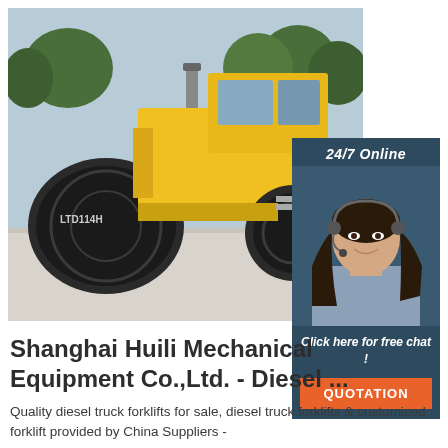[Figure (photo): Yellow road roller / compactor machine (model LTD114H) parked on a concrete surface with trees in the background. Overlaid with a 24/7 online chat widget showing a female customer service agent with a headset, 'Click here for free chat!' text, and an orange QUOTATION button.]
Shanghai Huili Mechanical Equipment Co.,Ltd. - Diesel ...
Quality diesel truck forklifts for sale, diesel truck forklifts & customized forklift provided by China Suppliers -